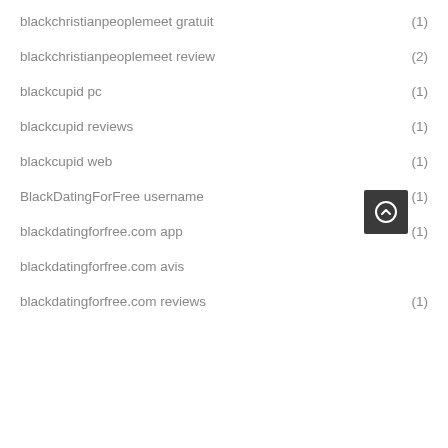blackchristianpeoplemeet gratuit (1)
blackchristianpeoplemeet review (2)
blackcupid pc (1)
blackcupid reviews (1)
blackcupid web (1)
BlackDatingForFree username (1)
blackdatingforfree.com app (1)
blackdatingforfree.com avis
blackdatingforfree.com reviews (1)